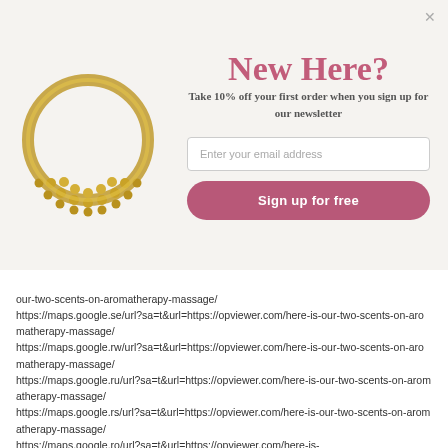[Figure (photo): Gold decorative ring/jewelry with beaded half-moon design on left panel of popup]
New Here?
Take 10% off your first order when you sign up for our newsletter
our-two-scents-on-aromatherapy-massage/ https://maps.google.se/url?sa=t&url=https://opviewer.com/here-is-our-two-scents-on-aromatherapy-massage/ https://maps.google.rw/url?sa=t&url=https://opviewer.com/here-is-our-two-scents-on-aromatherapy-massage/ https://maps.google.ru/url?sa=t&url=https://opviewer.com/here-is-our-two-scents-on-aromatherapy-massage/ https://maps.google.rs/url?sa=t&url=https://opviewer.com/here-is-our-two-scents-on-aromatherapy-massage/ https://maps.google.ro/url?sa=t&url=https://opviewer.com/here-is-